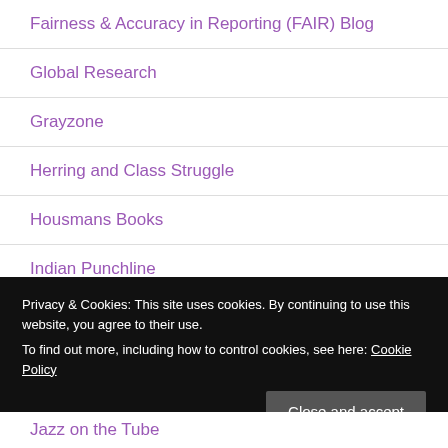Fairness & Accuracy in Reporting (FAIR) Blog
Global Research
Grayzone
Herring and Class Struggle
Housmans Books
Indian Punchline
Insurgent Notes
Privacy & Cookies: This site uses cookies. By continuing to use this website, you agree to their use.
To find out more, including how to control cookies, see here: Cookie Policy
Jazz on the Tube